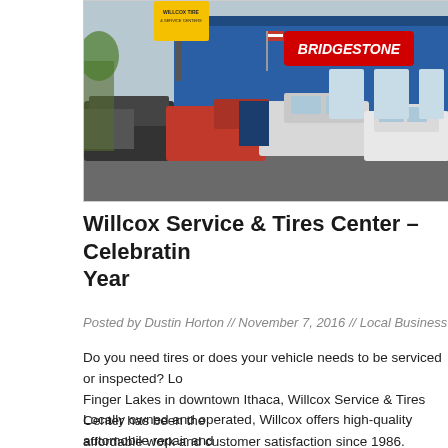[Figure (photo): Exterior photo of Willcox Service & Tires Center, a blue building with a Bridgestone sign, with several trucks and cars parked in front.]
Willcox Service & Tires Center – Celebrating Year
Posted by Dustin Horton  //  November 7, 2016  //  Local Business
Do you need tires or does your vehicle needs to be serviced or inspected? Located in the Finger Lakes in downtown Ithaca, Willcox Service & Tires Center has been the area's home for affordable work and customer satisfaction since 1986.
Locally owned and operated, Willcox offers high-quality automobile repair and services at great prices. From brakes to air-conditioning to tires to fuel pumps, Willcox is your v...